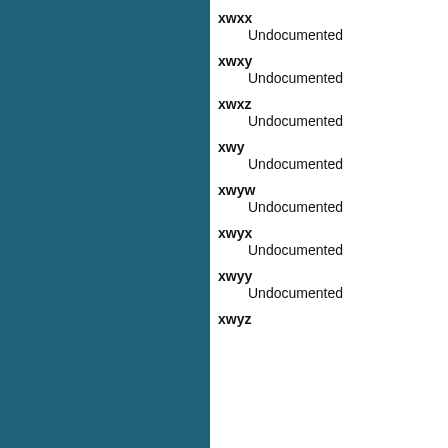[Figure (other): Teal/dark cyan sidebar panel on the left side of the page]
xwxx
    Undocumented
xwxy
    Undocumented
xwxz
    Undocumented
xwy
    Undocumented
xwyw
    Undocumented
xwyx
    Undocumented
xwyy
    Undocumented
xwyz